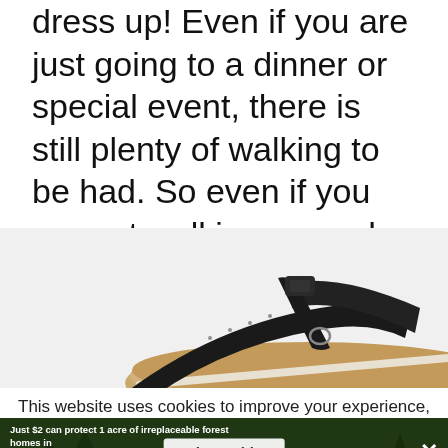dress up! Even if you are just going to a dinner or special event, there is still plenty of walking to be had. So even if you are not walking around the parks in them, you still want a comfortable and stylish sandal.]
[Figure (photo): Close-up photo of a black leather sandal with T-strap design on a tan/wood-colored footbed, partially cropped at the bottom of the image area.]
This website uses cookies to improve your experience, but you
[Figure (infographic): Advertisement banner with forest background image. Text reads: 'Just $2 can protect 1 acre of irreplaceable forest homes in the Amazon. How many acres are you willing to protect?' with a green 'PROTECT FORESTS NOW' button. Overlaid with 'Share This' text in white box. White X close button on right.]